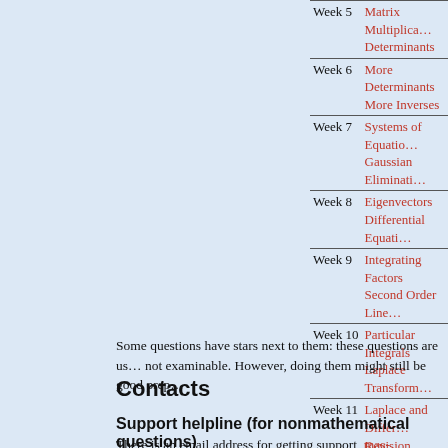| Week | Topic |
| --- | --- |
| Week 5 | Matrix Multiplication
Determinants |
| Week 6 | More Determinants
More Inverses |
| Week 7 | Systems of Equations
Gaussian Elimination |
| Week 8 | Eigenvectors
Differential Equations |
| Week 9 | Integrating Factors
Second Order Linear |
| Week 10 | Particular Integrals
Laplace Transforms |
| Week 11 | Laplace and Differential
Revision |
Some questions have stars next to them: these questions are usually not examinable. However, doing them might still be good prep...
Contacts
Support helpline (for nonmathematical questions)
There is an email address for getting support, mas-engineering... help with non-mathematical problems, including problems...